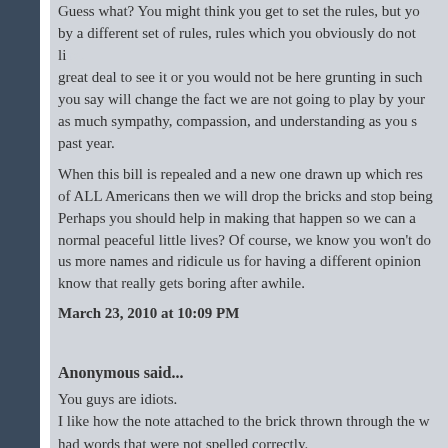Guess what? You might think you get to set the rules, but you are bound by a different set of rules, rules which you obviously do not like. It cost us a great deal to see it or you would not be here grunting in such ways. Nothing you say will change the fact we are not going to play by your rules. We have shown as much sympathy, compassion, and understanding as you showed us this past year.
When this bill is repealed and a new one drawn up which respects the rights of ALL Americans then we will drop the bricks and stop being "unreasonable". Perhaps you should help in making that happen so we can all go back to our normal peaceful little lives? Of course, we know you won't do that. Call us more names and ridicule us for having a different opinion than you. We know that really gets boring after awhile.
March 23, 2010 at 10:09 PM
Anonymous said...
You guys are idiots.
I like how the note attached to the brick thrown through the window had words that were not spelled correctly.
IMAO
Long live Socialism!!!
March 23, 2010 at 10:09 PM